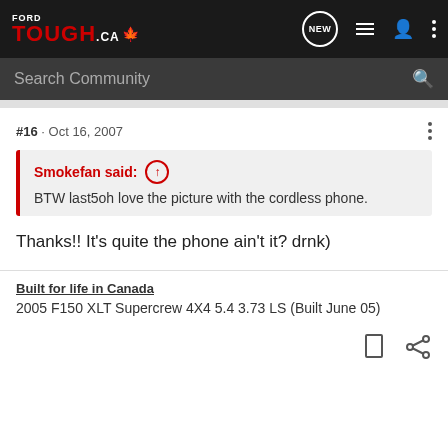[Figure (logo): Ford Tough .ca logo with maple leaf and navigation icons including NEW bubble, list icon, person icon, dots menu]
Search Community
#16  ·  Oct 16, 2007
Smokefan said: ↑
BTW last5oh love the picture with the cordless phone.
Thanks!! It's quite the phone ain't it? drnk)
Built for life in Canada
2005 F150 XLT Supercrew 4X4 5.4 3.73 LS (Built June 05)